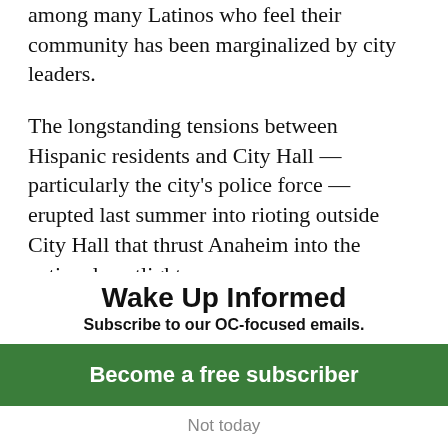among many Latinos who feel their community has been marginalized by city leaders.
The longstanding tensions between Hispanic residents and City Hall — particularly the city's police force — erupted last summer into rioting outside City Hall that thrust Anaheim into the national spotlight.
The city is also fighting a lawsuit by the
Wake Up Informed
Subscribe to our OC-focused emails.
Become a free subscriber
Not today